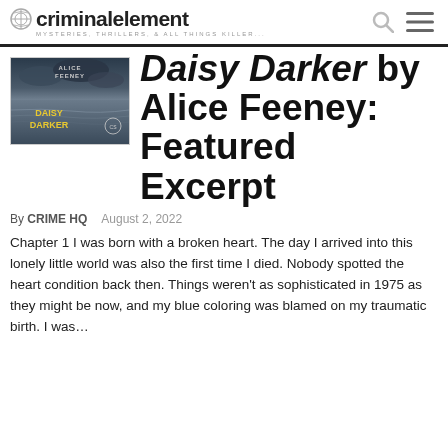criminalelement — MYSTERIES, THRILLERS, & ALL THINGS KILLER...
[Figure (photo): Book cover of Daisy Darker by Alice Feeney — dark stormy seascape with the book title in yellow text]
Daisy Darker by Alice Feeney: Featured Excerpt
By CRIME HQ   August 2, 2022
Chapter 1 I was born with a broken heart. The day I arrived into this lonely little world was also the first time I died. Nobody spotted the heart condition back then. Things weren't as sophisticated in 1975 as they might be now, and my blue coloring was blamed on my traumatic birth. I was…